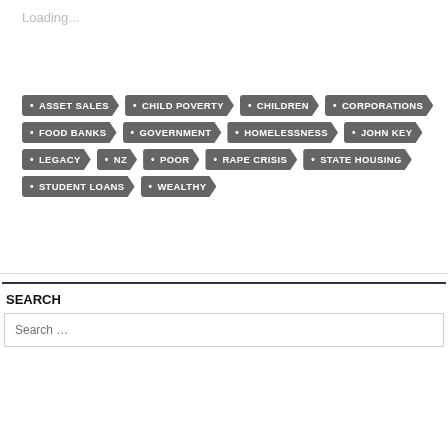Loading...
ASSET SALES • CHILD POVERTY • CHILDREN • CORPORATIONS • FOOD BANKS • GOVERNMENT • HOMELESSNESS • JOHN KEY • LEGACY • NZ • POOR • RAPE CRISIS • STATE HOUSING • STUDENT LOANS • WEALTHY
SEARCH
Search ...